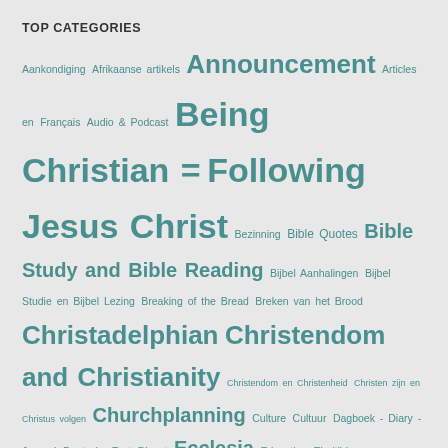TOP CATEGORIES
Aankondiging Afrikaanse artikels Announcement Articles en Français Audio & Podcast Being Christian = Following Jesus Christ Bezinning Bible Quotes Bible Study and Bible Reading Bijbel Aanhalingen Bijbel Studie en Bijbel Lezing Breaking of the Bread Breken van het Brood Christadelphian Christendom and Christianity Christendom en Christenheid Christen zijn en Christus volgen Churchplanning Culture Cultuur Dagboek - Diary - Journal Deutsche Text Dienst Ecclesia Education Eindtijd Endtimes Environment and Ecology Exhortation Faith Family Feesten Gebeden Gedrag en verhouding Geloven en Geloof Geschiedenis Gezondheid en welzijn Health and Welfare Heidendom Heilige Schrift Heiliging History Holy Scriptures Housechurch Huiskerk Intentie Jahushua de Messias Jehovah יהוה YHWH JHVH God Elohim Yahweh Jahweh Jeshua Jesus Christ Joshua the Messiah Jahushua